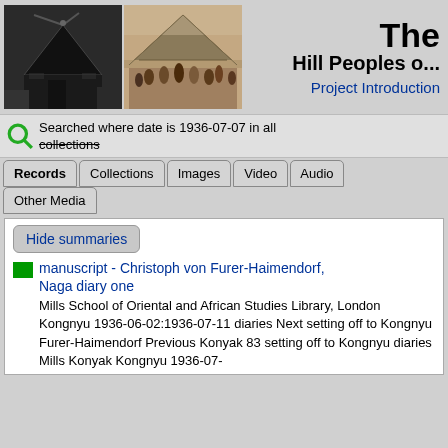The Hill Peoples of... Project Introduction
Searched where date is 1936-07-07 in all collections
Records | Collections | Images | Video | Audio | Other Media
Hide summaries
manuscript - Christoph von Furer-Haimendorf, Naga diary one
Mills School of Oriental and African Studies Library, London Kongnyu 1936-06-02:1936-07-11 diaries Next setting off to Kongnyu Furer-Haimendorf Previous Konyak 83 setting off to Kongnyu diaries Mills Konyak Kongnyu 1936-07-